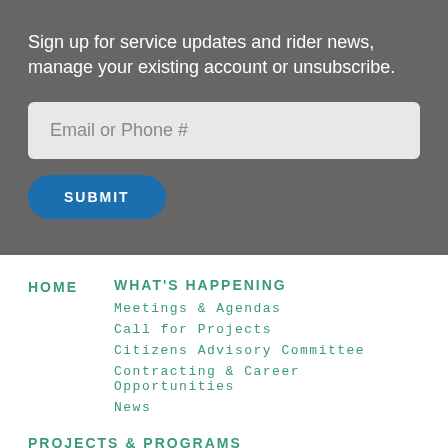Sign up for service updates and rider news, manage your existing account or unsubscribe.
Email or Phone #
SUBMIT
HOME
WHAT'S HAPPENING
Meetings & Agendas
Call for Projects
Citizens Advisory Committee
Contracting & Career Opportunities
News
PROJECTS & PROGRAMS